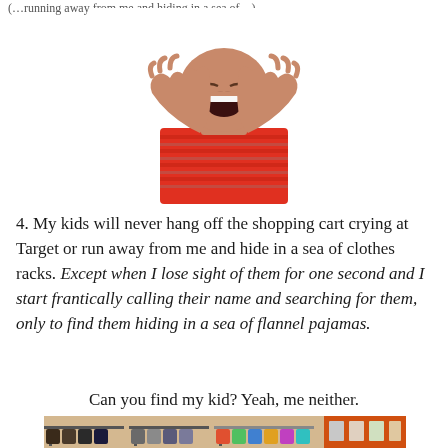(partial text cut off at top)
[Figure (photo): Young boy shouting with hands cupped around mouth, wearing a red striped shirt, white background]
4. My kids will never hang off the shopping cart crying at Target or run away from me and hide in a sea of clothes racks. Except when I lose sight of them for one second and I start frantically calling their name and searching for them, only to find them hiding in a sea of flannel pajamas.
Can you find my kid? Yeah, me neither.
[Figure (photo): Interior of a clothing store with racks of clothes, colorful garments hanging on display]